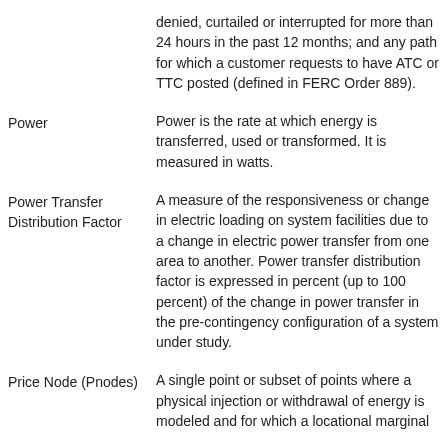denied, curtailed or interrupted for more than 24 hours in the past 12 months; and any path for which a customer requests to have ATC or TTC posted (defined in FERC Order 889).
Power
Power is the rate at which energy is transferred, used or transformed. It is measured in watts.
Power Transfer Distribution Factor
A measure of the responsiveness or change in electric loading on system facilities due to a change in electric power transfer from one area to another. Power transfer distribution factor is expressed in percent (up to 100 percent) of the change in power transfer in the pre-contingency configuration of a system under study.
Price Node (Pnodes)
A single point or subset of points where a physical injection or withdrawal of energy is modeled and for which a locational marginal